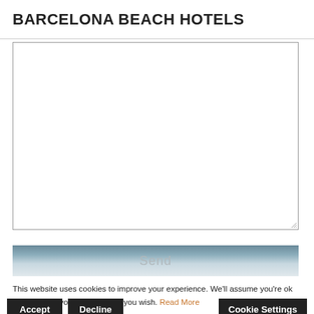BARCELONA BEACH HOTELS
[Figure (screenshot): Empty textarea input box with resize handle at bottom-right corner]
[Figure (screenshot): Send button with grey gradient background and grey text label 'Send']
This website uses cookies to improve your experience. We'll assume you're ok with this, but you can opt-out if you wish. Read More
Accept | Decline | Cookie Settings